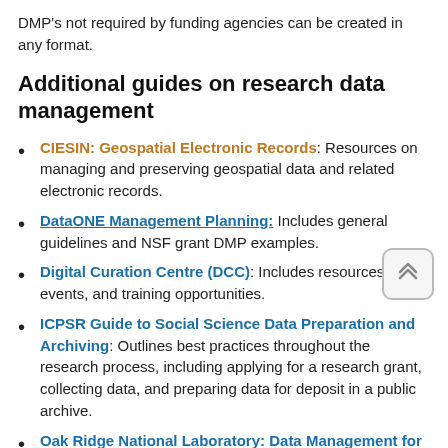DMP's not required by funding agencies can be created in any format.
Additional guides on research data management
CIESIN: Geospatial Electronic Records: Resources on managing and preserving geospatial data and related electronic records.
DataONE Management Planning: Includes general guidelines and NSF grant DMP examples.
Digital Curation Centre (DCC): Includes resources, events, and training opportunities.
ICPSR Guide to Social Science Data Preparation and Archiving: Outlines best practices throughout the research process, including applying for a research grant, collecting data, and preparing data for deposit in a public archive.
Oak Ridge National Laboratory: Data Management for Data